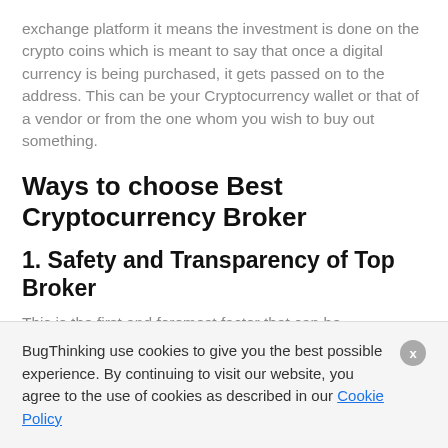exchange platform it means the investment is done on the crypto coins which is meant to say that once a digital currency is being purchased, it gets passed on to the address. This can be your Cryptocurrency wallet or that of a vendor or from the one whom you wish to buy out something.
Ways to choose Best Cryptocurrency Broker
1. Safety and Transparency of Top Broker
This is the first and foremost factor that can be
BugThinking use cookies to give you the best possible experience. By continuing to visit our website, you agree to the use of cookies as described in our Cookie Policy